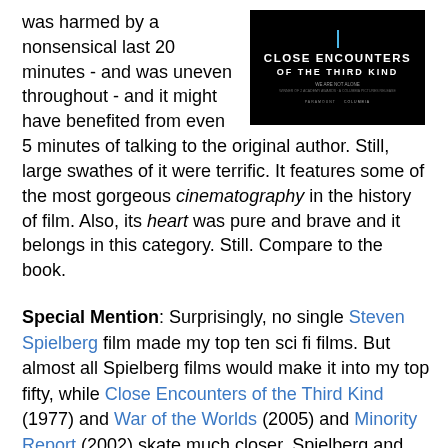was harmed by a nonsensical last 20 minutes - and was uneven throughout - and it might have benefited from even 5 minutes of talking to the original author. Still, large swathes of it were terrific. It features some of the most gorgeous cinematography in the history of film. Also, its heart was pure and brave and it belongs in this category. Still. Compare to the book.
[Figure (photo): Movie poster for Close Encounters of the Third Kind - black background with white bold text and blue accent line]
Special Mention: Surprisingly, no single Steven Spielberg film made my top ten sci fi films. But almost all Spielberg films would make it into my top fifty, while Close Encounters of the Third Kind (1977) and War of the Worlds (2005) and Minority Report (2002) skate much closer. Spielberg and Zemeckis are the most consistent and skilled story tellers of our age. Nolan and Cameron, while much more uneven and less disciplined, did make it onto the list.  Vive les differences.